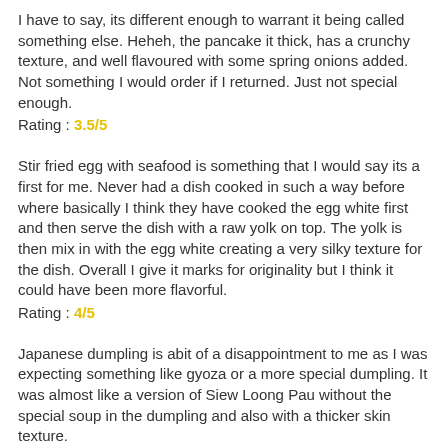I have to say, its different enough to warrant it being called something else. Heheh, the pancake it thick, has a crunchy texture, and well flavoured with some spring onions added. Not something I would order if I returned. Just not special enough.
Rating : 3.5/5
Stir fried egg with seafood is something that I would say its a first for me. Never had a dish cooked in such a way before where basically I think they have cooked the egg white first and then serve the dish with a raw yolk on top. The yolk is then mix in with the egg white creating a very silky texture for the dish. Overall I give it marks for originality but I think it could have been more flavorful.
Rating : 4/5
Japanese dumpling is abit of a disappointment to me as I was expecting something like gyoza or a more special dumpling. It was almost like a version of Siew Loong Pau without the special soup in the dumpling and also with a thicker skin texture.
Rating : 3/5